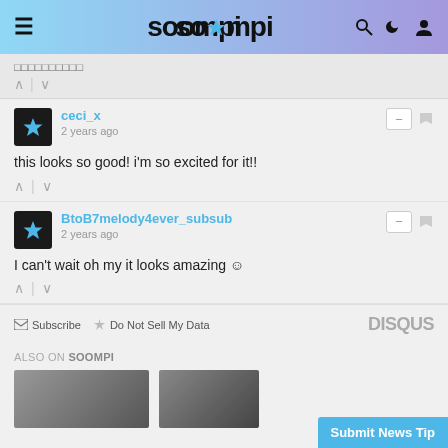soompi
□□□□□□□□□□
^ | v
ceci_x
2 years ago
this looks so good! i'm so excited for it!!
^ | v
BtoB7melody4ever_subsub
2 years ago
I can't wait oh my it looks amazing ☺
^ | v
Subscribe  Do Not Sell My Data   DISQUS
ALSO ON SOOMPI